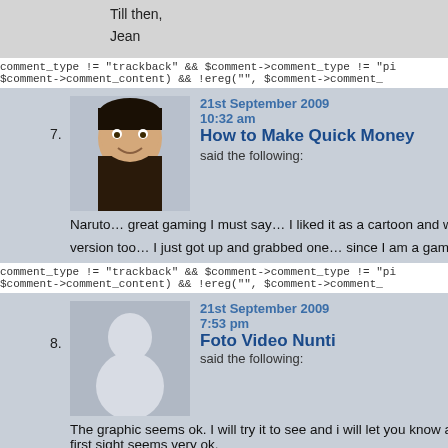Till then,

Jean
comment_type != "trackback" && $comment->comment_type != "pi $comment->comment_content) && !ereg("", $comment->comment_
21st September 2009
10:32 am
How to Make Quick Money
said the following:
Naruto… great gaming I must say… I liked it as a cartoon and wh version too… I just got up and grabbed one… since I am a game
comment_type != "trackback" && $comment->comment_type != "pi $comment->comment_content) && !ereg("", $comment->comment_
21st September 2009
7:53 pm
Foto Video Nunti
said the following:
The graphic seems ok. I will try it to see and i will let you know ab first sight seems very ok.
comment_type != "trackback" && $comment->comment_type != "pi $comment->comment_content) && !ereg("", $comment->comment_